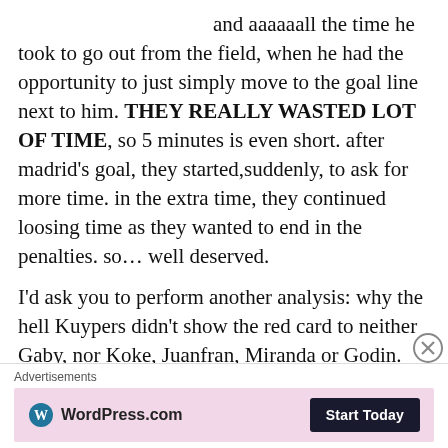and aaaaaall the time he took to go out from the field, when he had the opportunity to just simply move to the goal line next to him. THEY REALLY WASTED LOT OF TIME, so 5 minutes is even short. after madrid's goal, they started,suddenly, to ask for more time. in the extra time, they continued loosing time as they wanted to end in the penalties. so... well deserved.
I'd ask you to perform another analysis: why the hell Kuypers didn't show the red card to neither Gaby, nor Koke, Juanfran, Miranda or Godin. They tackled whatever they wanted. Another analysis: why Kuypers didn't signaled penalty from Gaby when he clearly touched the ball when Cristiano...
Advertisements
[Figure (other): WordPress.com advertisement banner with pink background showing WordPress logo and 'Start Today' button]